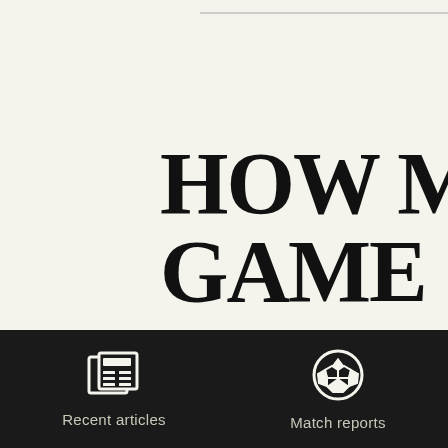HOW MU GAME IN WORTH GILLING- BRADFO
[Figure (illustration): Newspaper/article icon - white outline of a newspaper with columns on dark background]
Recent articles
[Figure (illustration): Soccer ball icon - white outline of a football/soccer ball on dark background]
Match reports